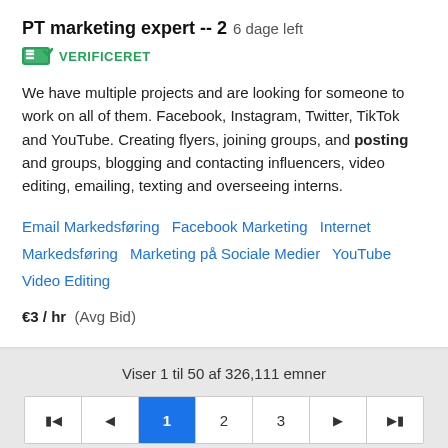PT marketing expert -- 2  6 dage left
[Figure (other): Green verified badge icon with checkmark and text VERIFICERET]
We have multiple projects and are looking for someone to work on all of them. Facebook, Instagram, Twitter, TikTok and YouTube. Creating flyers, joining groups, and posting and groups, blogging and contacting influencers, video editing, emailing, texting and overseeing interns.
Email Markedsføring    Facebook Marketing    Internet Markedsføring    Marketing på Sociale Medier    YouTube Video Editing
€3 / hr  (Avg Bid)
Viser 1 til 50 af 326,111 emner
[Figure (other): Pagination bar with buttons: first, previous, 1 (active/blue), 2, 3, next, last]